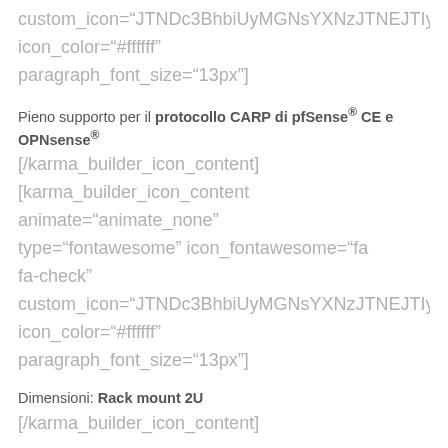custom_icon="JTNDc3BhbiUyMGNsYXNzJTNEJTIy
icon_color="#ffffff"
paragraph_font_size="13px"]
Pieno supporto per il protocollo CARP di pfSense® CE e OPNsense®
[/karma_builder_icon_content]
[karma_builder_icon_content
animate="animate_none"
type="fontawesome" icon_fontawesome="fa fa-check"
custom_icon="JTNDc3BhbiUyMGNsYXNzJTNEJTIy
icon_color="#ffffff"
paragraph_font_size="13px"]
Dimensioni: Rack mount 2U
[/karma_builder_icon_content]